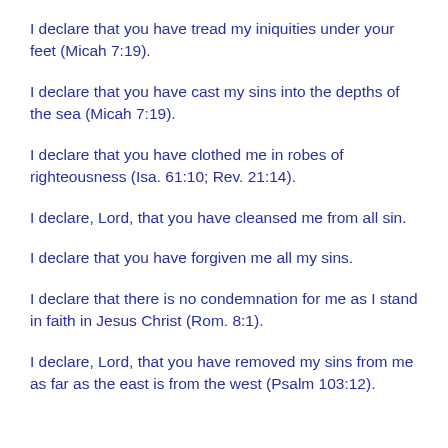I declare that you have tread my iniquities under your feet (Micah 7:19).
I declare that you have cast my sins into the depths of the sea (Micah 7:19).
I declare that you have clothed me in robes of righteousness (Isa. 61:10; Rev. 21:14).
I declare, Lord, that you have cleansed me from all sin.
I declare that you have forgiven me all my sins.
I declare that there is no condemnation for me as I stand in faith in Jesus Christ (Rom. 8:1).
I declare, Lord, that you have removed my sins from me as far as the east is from the west (Psalm 103:12).